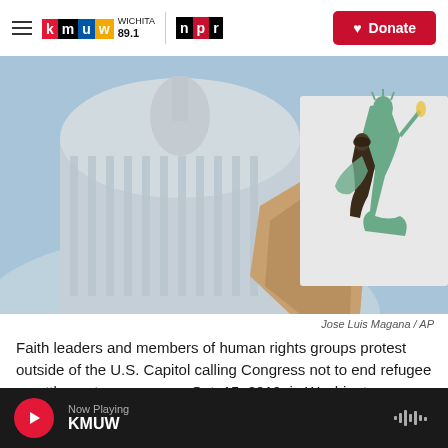KMUW Wichita 89.1 | NPR | Donate
[Figure (photo): A hand holds up an illustrated sign in front of the U.S. Capitol building. The illustration depicts the Statue of Liberty hugging a refugee figure. The background shows the Capitol dome out of focus in a blue sky.]
Jose Luis Magana / AP
Faith leaders and members of human rights groups protest outside of the U.S. Capitol calling Congress not to end refugee resettlement programs on Oct. 15, 2019, in Washington.
Now Playing KMUW